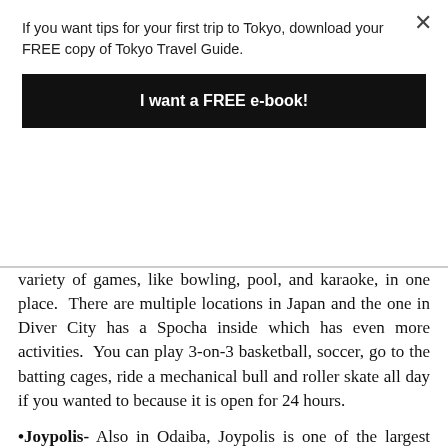If you want tips for your first trip to Tokyo, download your FREE copy of Tokyo Travel Guide.
I want a FREE e-book!
variety of games, like bowling, pool, and karaoke, in one place.  There are multiple locations in Japan and the one in Diver City has a Spocha inside which has even more activities.  You can play 3-on-3 basketball, soccer, go to the batting cages, ride a mechanical bull and roller skate all day if you wanted to because it is open for 24 hours.
•Joypolis- Also in Odaiba, Joypolis is one of the largest indoor amusement parks in Japan.  It has arcade games, roller coasters, and VR.
•B-Pump- If you're not ready to climb Mt. Fuji just yet